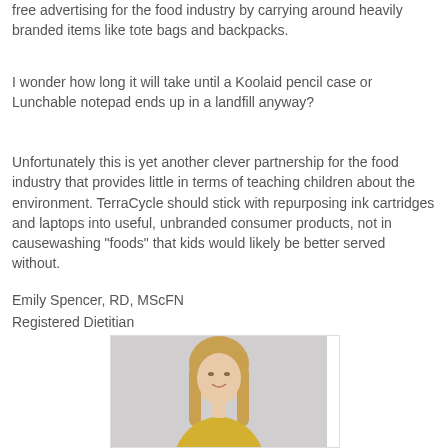free advertising for the food industry by carrying around heavily branded items like tote bags and backpacks.
I wonder how long it will take until a Koolaid pencil case or Lunchable notepad ends up in a landfill anyway?
Unfortunately this is yet another clever partnership for the food industry that provides little in terms of teaching children about the environment. TerraCycle should stick with repurposing ink cartridges and laptops into useful, unbranded consumer products, not in causewashing "foods" that kids would likely be better served without.
Emily Spencer, RD, MScFN
Registered Dietitian
[Figure (photo): Portrait photo of a young woman with long blonde hair, smiling, wearing a yellow top, against a light grey background.]